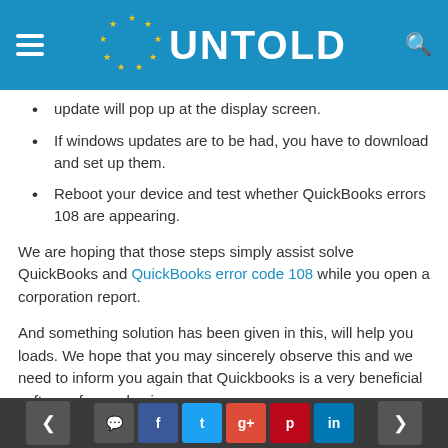UNTOLD
update will pop up at the display screen.
If windows updates are to be had, you have to download and set up them.
Reboot your device and test whether QuickBooks errors 108 are appearing.
We are hoping that those steps simply assist solve QuickBooks and QuickBooks error code 108 while you open a corporation report.
And something solution has been given in this, will help you loads. We hope that you may sincerely observe this and we need to inform you again that Quickbooks is a very beneficial software for our business.
< comment f t g+ p in >